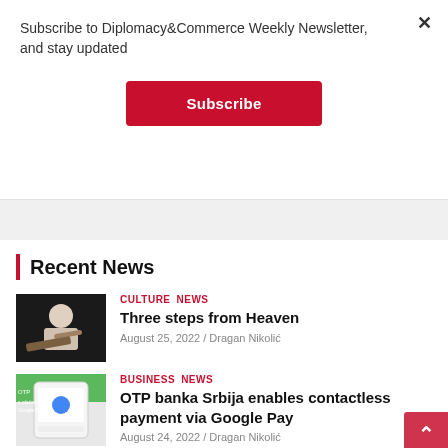Subscribe to Diplomacy&Commerce Weekly Newsletter, and stay updated
Subscribe
Recent News
CULTURE  NEWS
Three steps from Heaven
August 25, 2022 / Dragan Nikolić
[Figure (photo): Person playing guitar on stage]
BUSINESS  NEWS
OTP banka Srbija enables contactless payment via Google Pay
August 24, 2022 / Dragan Nikolić
[Figure (photo): Smartphone with payment app]
BUSINESS  NEWS  TOP STORIES